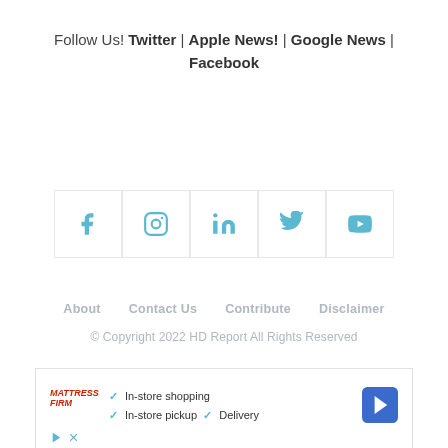Follow Us! Twitter | Apple News! | Google News | Facebook
[Figure (other): Social media icons row: Facebook, Instagram, LinkedIn, Twitter, YouTube — teal colored icons in bordered boxes]
About   Contact Us   Contribute   Disclaimer
© Copyright 2022 HD Report All Rights Reserved
[Figure (other): Advertisement box: Mattress Firm ad with checkmarks for In-store shopping, In-store pickup, Delivery and a navigation arrow icon]